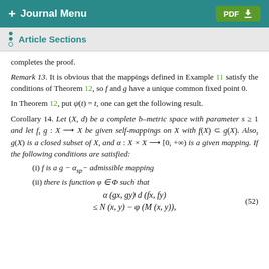+ Journal Menu | PDF
Article Sections
completes the proof.
Remark 13. It is obvious that the mappings defined in Example 11 satisfy the conditions of Theorem 12, so f and g have a unique common fixed point 0.
In Theorem 12, put ψ(t) = t, one can get the following result.
Corollary 14. Let (X, d) be a complete b–metric space with parameter s ≥ 1 and let f, g : X → X be given self-mappings on X with f(X) ⊂ g(X). Also, g(X) is a closed subset of X, and α : X × X → [0, +∞) is a given mapping. If the following conditions are satisfied:
(i) f is a g − α_sp − admissible mapping
(ii) there is function φ ∈ Φ such that
(52)